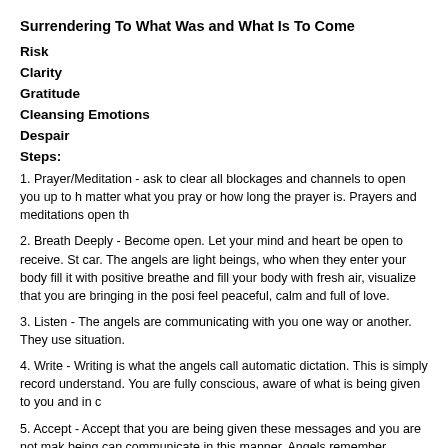Surrendering To What Was and What Is To Come
Risk
Clarity
Gratitude
Cleansing Emotions
Despair
Steps:
1. Prayer/Meditation - ask to clear all blockages and channels to open you up to h matter what you pray or how long the prayer is. Prayers and meditations open th
2. Breath Deeply - Become open. Let your mind and heart be open to receive. St car. The angels are light beings, who when they enter your body fill it with positive breathe and fill your body with fresh air, visualize that you are bringing in the posi feel peaceful, calm and full of love.
3. Listen - The angels are communicating with you one way or another. They use situation.
4. Write - Writing is what the angels call automatic dictation. This is simply record understand. You are fully conscious, aware of what is being given to you and in c
5. Accept - Accept that you are being given these messages and you are not mak being can communicate in this manner. Angels remember situations and stories y